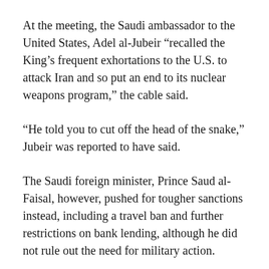At the meeting, the Saudi ambassador to the United States, Adel al-Jubeir “recalled the King’s frequent exhortations to the U.S. to attack Iran and so put an end to its nuclear weapons program,” the cable said.
“He told you to cut off the head of the snake,” Jubeir was reported to have said.
The Saudi foreign minister, Prince Saud al-Faisal, however, pushed for tougher sanctions instead, including a travel ban and further restrictions on bank lending, although he did not rule out the need for military action.